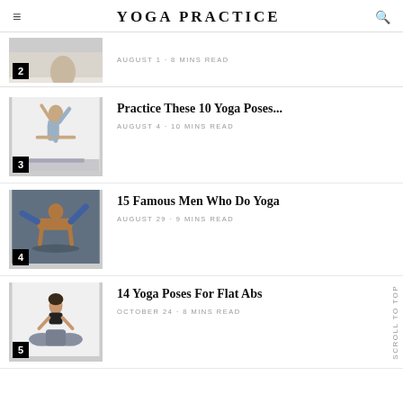YOGA PRACTICE
[Figure (photo): Partial image of a yoga pose - item 2, cropped]
AUGUST 1 · 8 MINS READ
[Figure (photo): Person doing a yoga arm balance pose against a white wall - item 3]
Practice These 10 Yoga Poses...
AUGUST 4 · 10 MINS READ
[Figure (photo): Man performing yoga arm balance pose - item 4]
15 Famous Men Who Do Yoga
AUGUST 29 · 9 MINS READ
[Figure (photo): Woman sitting in lotus meditation pose - item 5]
14 Yoga Poses For Flat Abs
OCTOBER 24 · 8 MINS READ